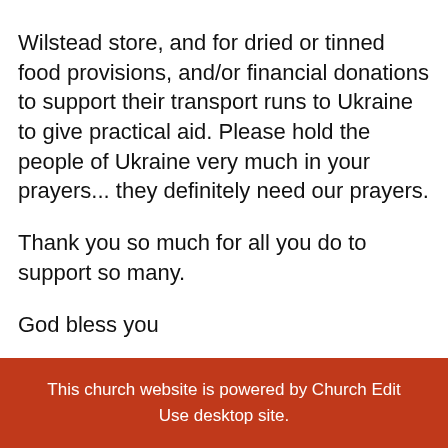Wilstead store, and for dried or tinned food provisions, and/or financial donations to support their transport runs to Ukraine to give practical aid.  Please hold the people of Ukraine very much in your prayers... they definitely need our prayers.
Thank you so much for all you do to support so many.
God bless you
Linda and Nige
This church website is powered by Church Edit
Use desktop site.